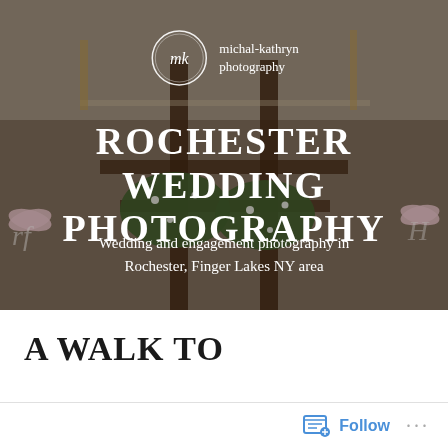[Figure (photo): Wedding venue photo showing wooden chairs with floral greenery arrangements and pink ribbon bows, table setting in background, semi-dark warm toned]
[Figure (logo): Michal-Kathryn Photography logo: circular script monogram with 'MK' inside a hand-drawn circle, beside text 'michal-kathryn photography' in white]
ROCHESTER WEDDING PHOTOGRAPHY
Wedding and engagement photography in Rochester, Finger Lakes NY area
A WALK TO
Follow ...